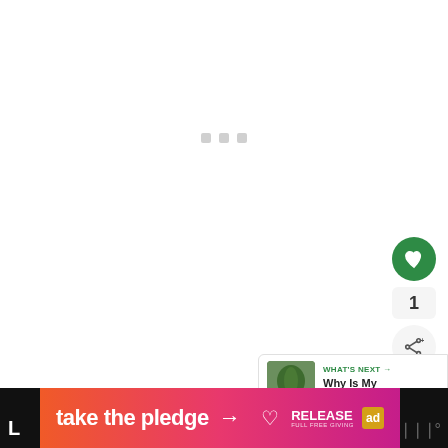[Figure (screenshot): Loading spinner with three small gray square dots centered on a white background]
[Figure (screenshot): Green circular heart/like button on the right side]
1
[Figure (screenshot): Share button with share icon on right side]
[Figure (screenshot): What's Next panel showing a thumbnail of a rubber plant and text 'WHAT'S NEXT → Why Is My Rubber Plan...']
[Figure (screenshot): Watermark logo with vertical bars and degree symbol]
[Figure (screenshot): Advertisement banner: 'take the pledge →' with RELEASE logo and ad badge on pink/orange gradient background]
L